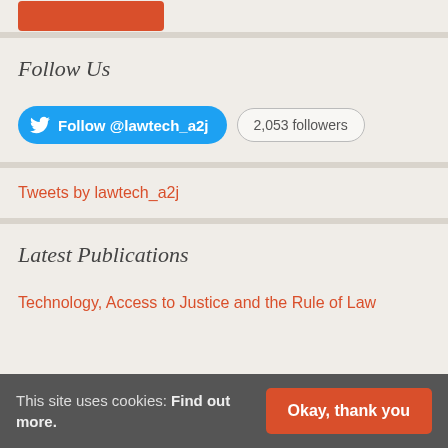[Figure (other): Orange/red button at top of page (partial, cropped)]
Follow Us
[Figure (other): Twitter Follow button for @lawtech_a2j with 2,053 followers badge]
Tweets by lawtech_a2j
Latest Publications
Technology, Access to Justice and the Rule of Law
This site uses cookies: Find out more.
Okay, thank you